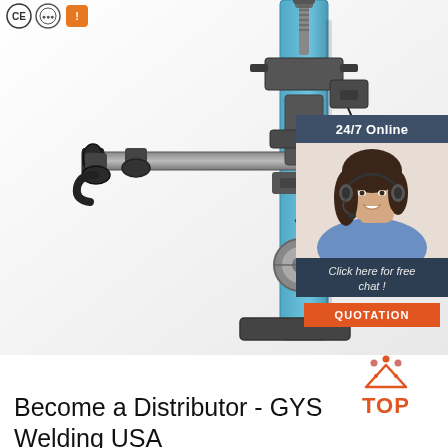[Figure (logo): CE, circular badge, and orange square certification logos in top-left corner]
[Figure (photo): Industrial welding column and boom positioner machine with blue vertical column, horizontal arms, rollers/idlers, and coiled cable against white background]
[Figure (infographic): 24/7 Online chat widget sidebar showing woman with headset, text 'Click here for free chat!' and orange QUOTATION button]
[Figure (logo): Orange and red TOP logo badge with dots above the letters]
Become a Distributor - GYS Welding USA